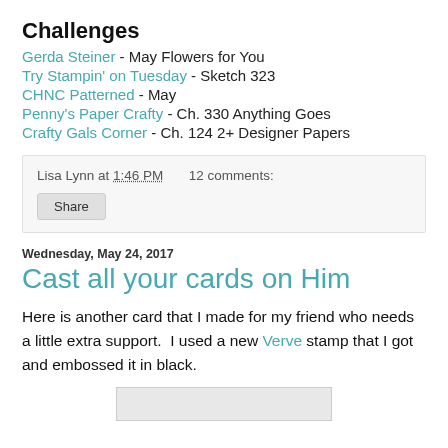Challenges
Gerda Steiner - May Flowers for You
Try Stampin' on Tuesday - Sketch 323
CHNC Patterned - May
Penny's Paper Crafty - Ch. 330 Anything Goes
Crafty Gals Corner - Ch. 124 2+ Designer Papers
Lisa Lynn at 1:46 PM   12 comments:
Share
Wednesday, May 24, 2017
Cast all your cards on Him
Here is another card that I made for my friend who needs a little extra support.  I used a new Verve stamp that I got and embossed it in black.
[Figure (photo): Partially visible card image at bottom of page]